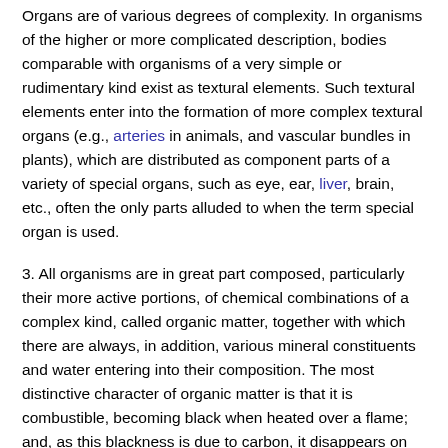Organs are of various degrees of complexity. In organisms of the higher or more complicated description, bodies comparable with organisms of a very simple or rudimentary kind exist as textural elements. Such textural elements enter into the formation of more complex textural organs (e.g., arteries in animals, and vascular bundles in plants), which are distributed as component parts of a variety of special organs, such as eye, ear, liver, brain, etc., often the only parts alluded to when the term special organ is used.
3. All organisms are in great part composed, particularly their more active portions, of chemical combinations of a complex kind, called organic matter, together with which there are always, in addition, various mineral constituents and water entering into their composition. The most distinctive character of organic matter is that it is combustible, becoming black when heated over a flame; and, as this blackness is due to carbon, it disappears on further exposure to heat and air, leaving the ash or non-volatile mineral constituents which are always associated with organic matter.
Organic matter is divisible into two groups of substances, which are distinguished as nitrogenous, and non-nitrogenous or carbonaceous;